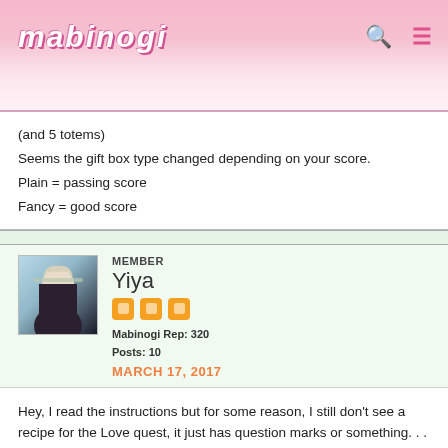mabinogi
(and 5 totems)
Seems the gift box type changed depending on your score.
Plain = passing score
Fancy = good score
Member
Yiya
Mabinogi Rep: 320
Posts: 10
MARCH 17, 2017
Hey, I read the instructions but for some reason, I still don't see a recipe for the Love quest, it just has question marks or something. . .
can someone tell me the exact recipe for the Love quest?